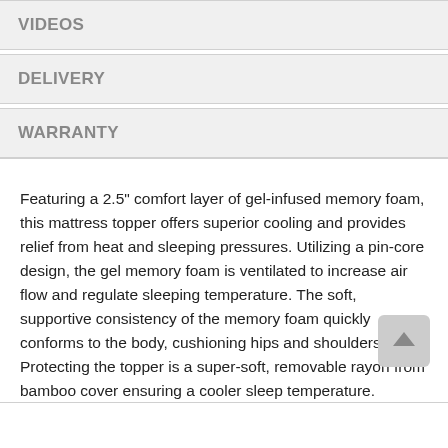VIDEOS
DELIVERY
WARRANTY
Featuring a 2.5" comfort layer of gel-infused memory foam, this mattress topper offers superior cooling and provides relief from heat and sleeping pressures. Utilizing a pin-core design, the gel memory foam is ventilated to increase air flow and regulate sleeping temperature. The soft, supportive consistency of the memory foam quickly conforms to the body, cushioning hips and shoulders. Protecting the topper is a super-soft, removable rayon from bamboo cover ensuring a cooler sleep temperature.